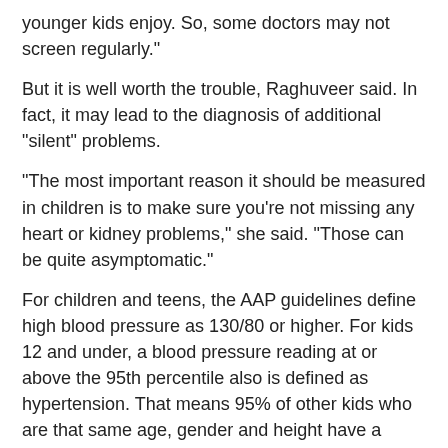younger kids enjoy. So, some doctors may not screen regularly."
But it is well worth the trouble, Raghuveer said. In fact, it may lead to the diagnosis of additional "silent" problems.
"The most important reason it should be measured in children is to make sure you're not missing any heart or kidney problems," she said. "Those can be quite asymptomatic."
For children and teens, the AAP guidelines define high blood pressure as 130/80 or higher. For kids 12 and under, a blood pressure reading at or above the 95th percentile also is defined as hypertension. That means 95% of other kids who are that same age, gender and height have a lower blood pressure. As for what's a healthy blood pressure, the guidelines define a normal reading as below the 90th percentile for younger kids and below 120/80 for teens.
Often, if a child's blood pressure is high, the pediatrician may recommend further tests that look at urine and blood, and ultrasounds to examine the heart or the kidneys. Sleep disorders and a history of premature birth also are associated with high blood pressure in youth.
Children who have persistent hypertension may develop thicker